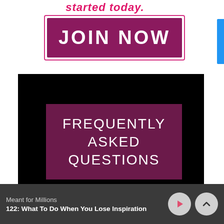started today.
[Figure (screenshot): Purple JOIN NOW button with pink border on white background]
[Figure (screenshot): Video thumbnail with black background and purple box reading FREQUENTLY ASKED QUESTIONS in white text]
Meant for Millions
122: What To Do When You Lose Inspiration